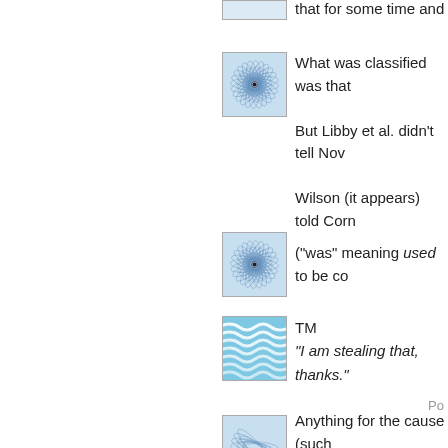that for some time and failed
[Figure (illustration): Spirograph geometric pattern in blue on light blue background, small circular avatar thumbnail]
What was classified was that
But Libby et al. didn't tell Nov
Wilson (it appears) told Corn
[Figure (illustration): Spirograph geometric pattern in blue on light blue background, small circular avatar thumbnail]
("was" meaning used to be co
[Figure (illustration): Blue wavy water pattern avatar thumbnail]
TM
"I am stealing that, thanks."
Anything for the cause (such
I spelled it out in previous com
Po
[Figure (illustration): Partial view of another avatar thumbnail at bottom]